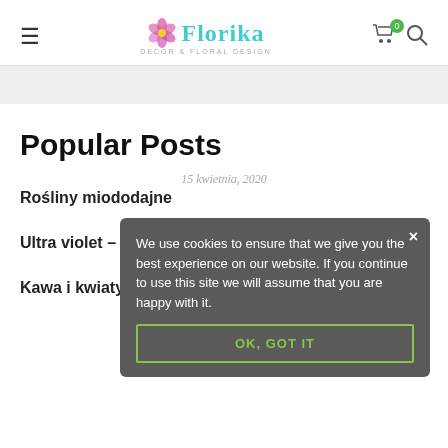Florika — Decor & Floral Design header with navigation
Popular Posts
15 kwietnia, 2020
Rośliny miododajne
13 gr...
Ultra violet – głowny kolor 2018 roku
7 lis...
Kawa i kwiaty
22 września, 2017
We use cookies to ensure that we give you the best experience on our website. If you continue to use this site we will assume that you are happy with it.
OK, GOT IT